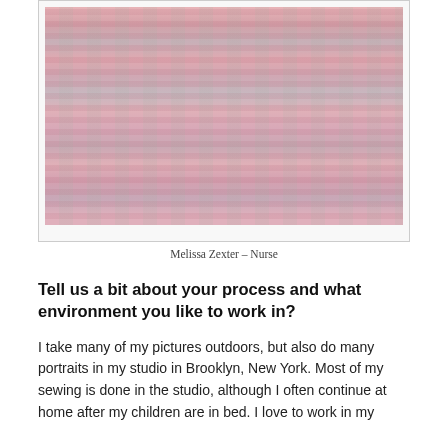[Figure (photo): Close-up photo of pink and grey/green zigzag knitted or crocheted fabric draped over a white wicker rocking chair, with a pink curtain or fabric on the right side. The photo has a small watermark in the bottom right corner.]
Melissa Zexter – Nurse
Tell us a bit about your process and what environment you like to work in?
I take many of my pictures outdoors, but also do many portraits in my studio in Brooklyn, New York. Most of my sewing is done in the studio, although I often continue at home after my children are in bed. I love to work in my